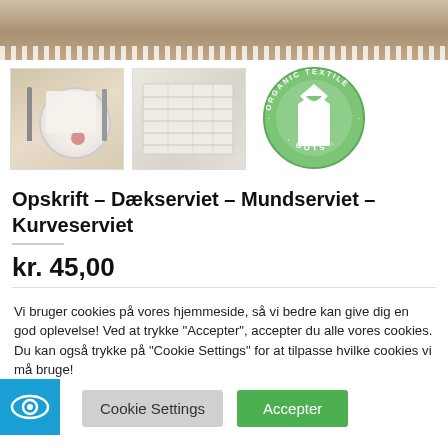[Figure (photo): Top banner photo showing a white linen placemat/napkin on a table surface, cropped view]
[Figure (photo): Thumbnail showing plate with napkin and fork on a placemat]
[Figure (photo): Thumbnail showing folded white linen napkins/placemats]
[Figure (logo): GOTS Global Organic Textile Standard certification badge - green circle with shirt icon, text 'ORGANIC TEXTILE' and 'GOTS' around border]
Opskrift – Dækserviet – Mundserviet – Kurveserviet
kr. 45,00
Vi bruger cookies på vores hjemmeside, så vi bedre kan give dig en god oplevelse! Ved at trykke "Accepter", accepter du alle vores cookies. Du kan også trykke på "Cookie Settings" for at tilpasse hvilke cookies vi må bruge!
[Figure (logo): Blue accessibility eye icon in bottom-left corner]